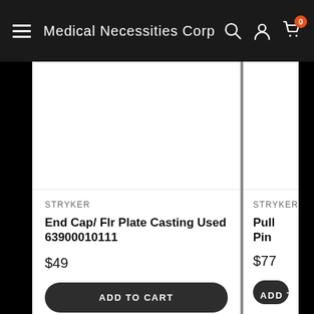Medical Necessities Corp
STRYKER
End Cap/ Flr Plate Casting Used 63900010111
$49
ADD TO CART
STRYKER
Pull Pin Assy n 6372010016S
$77
ADD TO